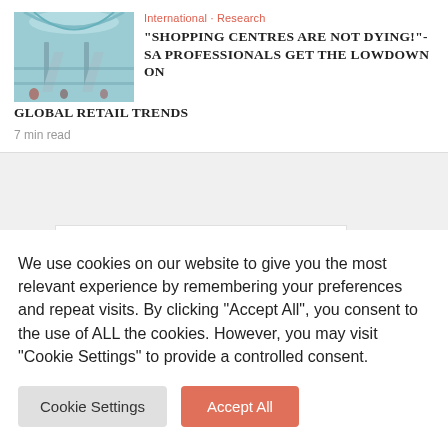[Figure (photo): Interior of a modern shopping centre with escalators and open atrium, blue-green tones]
International · Research
"SHOPPING CENTRES ARE NOT DYING!"- SA PROFESSIONALS GET THE LOWDOWN ON GLOBAL RETAIL TRENDS
7 min read
We use cookies on our website to give you the most relevant experience by remembering your preferences and repeat visits. By clicking "Accept All", you consent to the use of ALL the cookies. However, you may visit "Cookie Settings" to provide a controlled consent.
Cookie Settings
Accept All